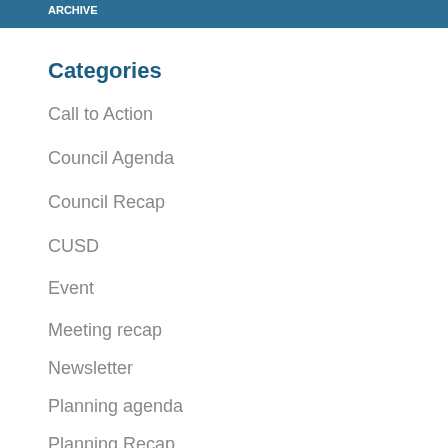ARCHIVE
Categories
Call to Action
Council Agenda
Council Recap
CUSD
Event
Meeting recap
Newsletter
Planning agenda
Planning Recap
Other